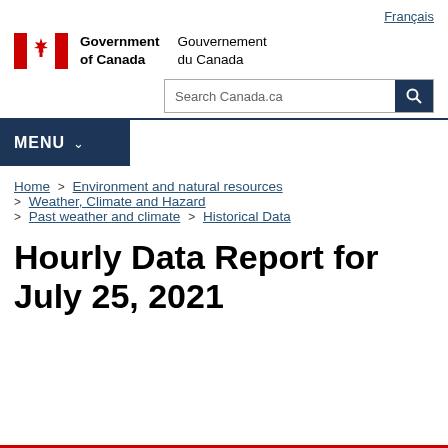Français
[Figure (logo): Government of Canada / Gouvernement du Canada logo with Canadian flag maple leaf symbol]
[Figure (other): Search Canada.ca search bar with search button]
MENU
Home > Environment and natural resources > Weather, Climate and Hazard > Past weather and climate > Historical Data
Hourly Data Report for July 25, 2021